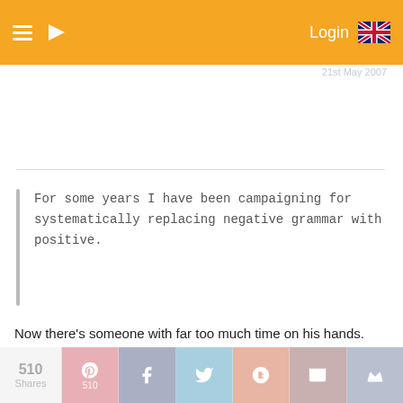Login
21st May 2007
For some years I have been campaigning for systematically replacing negative grammar with positive.
Now there's someone with far too much time on his hands.
GFH
21st May 2007
510 Shares